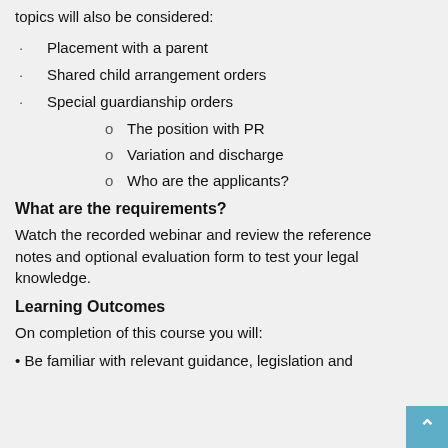topics will also be considered:
Placement with a parent
Shared child arrangement orders
Special guardianship orders
The position with PR
Variation and discharge
Who are the applicants?
What are the requirements?
Watch the recorded webinar and review the reference notes and optional evaluation form to test your legal knowledge.
Learning Outcomes
On completion of this course you will:
Be familiar with relevant guidance, legislation and